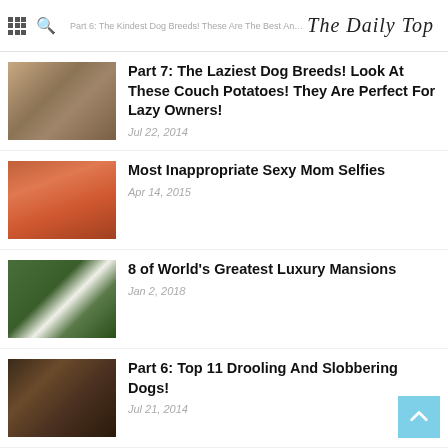The Daily Top
Part 7: The Laziest Dog Breeds! Look At These Couch Potatoes! They Are Perfect For Lazy Owners! — Jul 22, 2014
Most Inappropriate Sexy Mom Selfies — Apr 14, 2015
8 of World's Greatest Luxury Mansions — Jan 2, 2018
Part 6: Top 11 Drooling And Slobbering Dogs! — Jul 21, 2014